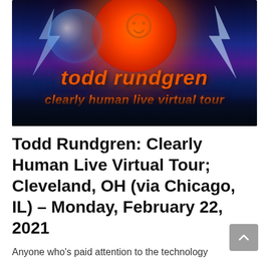[Figure (illustration): Todd Rundgren Clearly Human Live Virtual Tour promotional concert image. Dark blue/purple background with a large red/orange glowing orb at top center, stylized snake or number graphic, colorful lightning bolts on sides, a glass sphere on the left, a crowd silhouette at bottom, with orange italic text reading 'todd rundgren' and 'clearly human live virtual tour']
Todd Rundgren: Clearly Human Live Virtual Tour; Cleveland, OH (via Chicago, IL) – Monday, February 22, 2021
Anyone who's paid attention to the technology